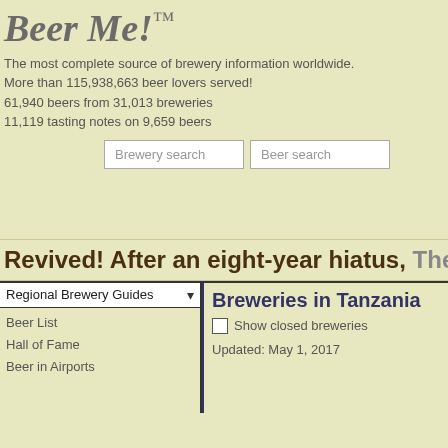Beer Me!™
The most complete source of brewery information worldwide.
More than 115,938,663 beer lovers served!
61,940 beers from 31,013 breweries
11,119 tasting notes on 9,659 beers
Revived! After an eight-year hiatus, The
Regional Brewery Guides
Beer List
Hall of Fame
Beer in Airports
Breweries in Tanzania
Show closed breweries
Updated: May 1, 2017